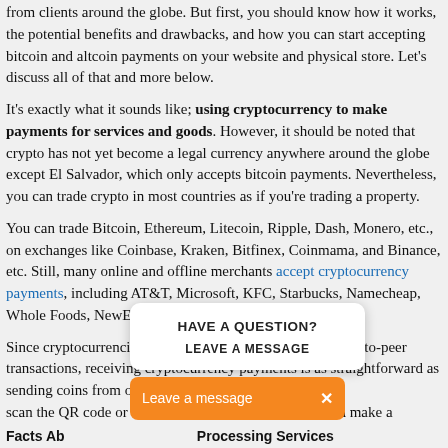from clients around the globe. But first, you should know how it works, the potential benefits and drawbacks, and how you can start accepting bitcoin and altcoin payments on your website and physical store. Let's discuss all of that and more below.
It's exactly what it sounds like; using cryptocurrency to make payments for services and goods. However, it should be noted that crypto has not yet become a legal currency anywhere around the globe except El Salvador, which only accepts bitcoin payments. Nevertheless, you can trade crypto in most countries as if you're trading a property.
You can trade Bitcoin, Ethereum, Litecoin, Ripple, Dash, Monero, etc., on exchanges like Coinbase, Kraken, Bitfinex, Coinmama, and Binance, etc. Still, many online and offline merchants accept cryptocurrency payments, including AT&T, Microsoft, KFC, Starbucks, Namecheap, Whole Foods, NewEgg, and so on.
Since cryptocurrencies are typically designed for easy peer-to-peer transactions, receiving cryptocurrency payments is as straightforward as sending coins from one wallet to another. The customer [needs to] scan the QR code or copy the hash code [of the] wallet and make a transfer without involving any intermediary. ...Read More
[Figure (screenshot): Chat widget popup with 'HAVE A QUESTION? LEAVE A MESSAGE' and an orange 'Leave a message X' bar below it]
Facts Ab... Processing Services